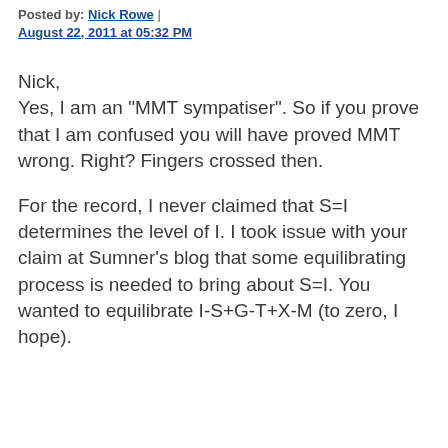Posted by: Nick Rowe | August 22, 2011 at 05:32 PM
Nick,
Yes, I am an "MMT sympatiser". So if you prove that I am confused you will have proved MMT wrong. Right? Fingers crossed then.
For the record, I never claimed that S=I determines the level of I. I took issue with your claim at Sumner's blog that some equilibrating process is needed to bring about S=I. You wanted to equilibrate I-S+G-T+X-M (to zero, I hope).